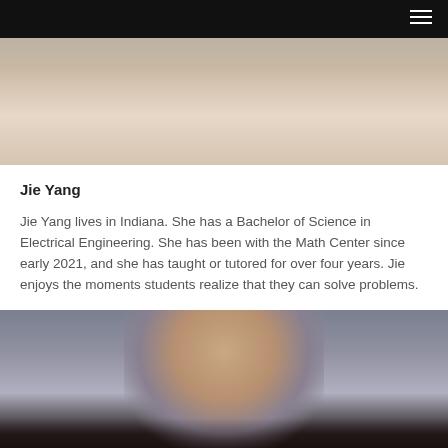[Figure (photo): Top portion of a person's face/head photo against a neutral background, partially cropped]
Jie Yang
Jie Yang lives in Indiana. She has a Bachelor of Science in Electrical Engineering. She has been with the Math Center since early 2021, and she has taught or tutored for over four years. Jie enjoys the moments students realize that they can solve problems.
[Figure (photo): Portrait photo of a smiling young woman with glasses and long dark hair, wearing a black polka dot top, against a gray background]